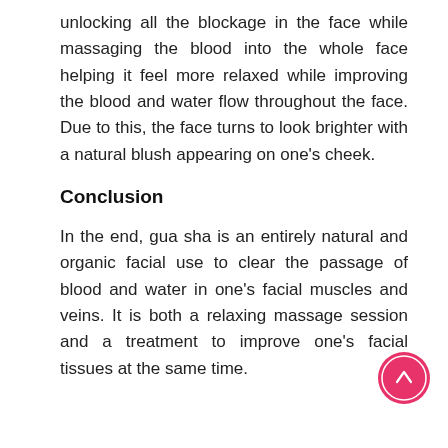unlocking all the blockage in the face while massaging the blood into the whole face helping it feel more relaxed while improving the blood and water flow throughout the face. Due to this, the face turns to look brighter with a natural blush appearing on one's cheek.
Conclusion
In the end, gua sha is an entirely natural and organic facial use to clear the passage of blood and water in one's facial muscles and veins. It is both a relaxing massage session and a treatment to improve one's facial tissues at the same time.